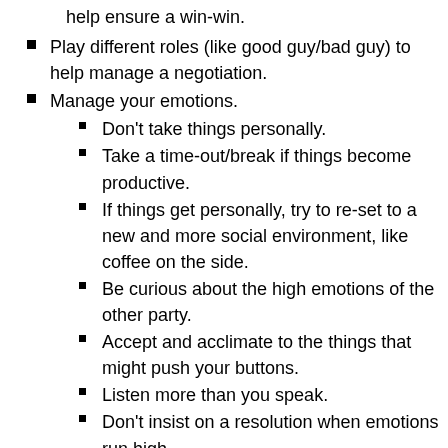help ensure a win-win.
Play different roles (like good guy/bad guy) to help manage a negotiation.
Manage your emotions.
Don’t take things personally.
Take a time-out/break if things become productive.
If things get personally, try to re-set to a new and more social environment, like coffee on the side.
Be curious about the high emotions of the other party.
Accept and acclimate to the things that might push your buttons.
Listen more than you speak.
Don’t insist on a resolution when emotions run high.
Silence is your friend.
Make time for in-person conversations or phone calls